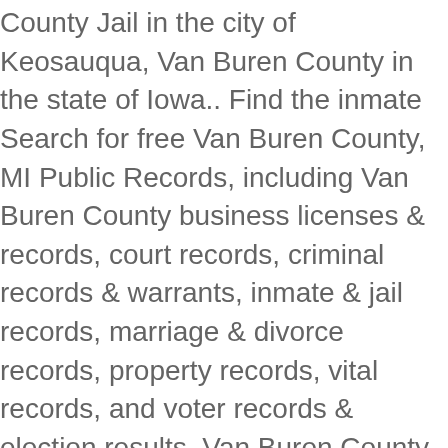County Jail in the city of Keosauqua, Van Buren County in the state of Iowa.. Find the inmate Search for free Van Buren County, MI Public Records, including Van Buren County business licenses & records, court records, criminal records & warrants, inmate & jail records, marriage & divorce records, property records, vital records, and voter records & election results. Van Buren County MI Jail has an ‘Inmate Roster’ where you can search your Inmate by their first or last name. Boyer lived on the second floor of the jail until July of 1962. The following is the address and phone number for Van Buren County Jail: Van Buren County Jail 17 Veterans Square,, Spencer, TN, 38585 931-946-2118. Van Buren County TN Jail County Jail has visiting hours on Mondays, Tuesdays, Wednesdays, Thursdays, Fridays. View arrest reports.